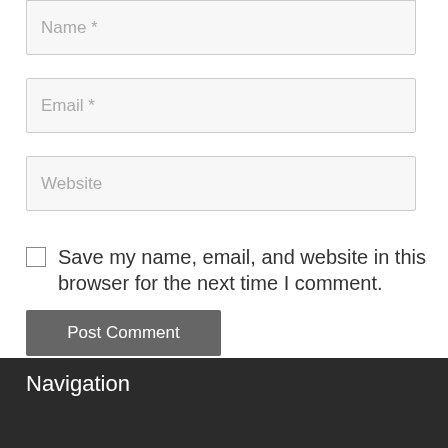Name *
Email *
Website
Save my name, email, and website in this browser for the next time I comment.
Post Comment
Navigation